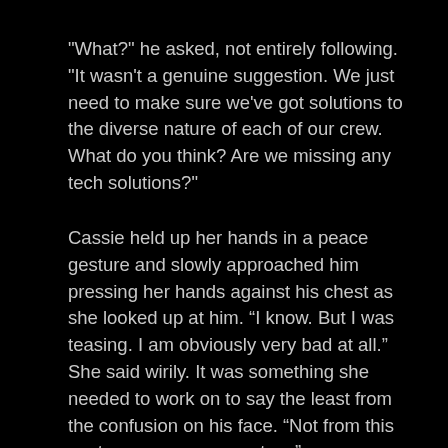"What?" he asked, not entirely following. "It wasn't a genuine suggestion. We just need to make sure we've got solutions to the diverse nature of each of our crew. What do you think? Are we missing any tech solutions?"
Cassie held up her hands in a peace gesture and slowly approached him pressing her hands against his chest as she looked up at him. “I know. But I was teasing. I am obviously very bad at all.” She said wirily. It was something she needed to work on to say the least from the confusion on his face. “Not from this century or even my century.”
He welcomed her touch. It was relaxing, if nothing else. "Well that's entirely reassuring. I imagine this would have been a lot more difficult with a couple of hundred crew instead of a couple of dozen." He leaned down so his